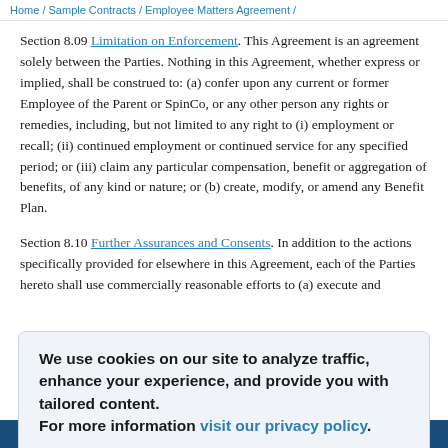Home / Sample Contracts / Employee Matters Agreement /
Section 8.09 Limitation on Enforcement. This Agreement is an agreement solely between the Parties. Nothing in this Agreement, whether express or implied, shall be construed to: (a) confer upon any current or former Employee of the Parent or SpinCo, or any other person any rights or remedies, including, but not limited to any right to (i) employment or recall; (ii) continued employment or continued service for any specified period; or (iii) claim any particular compensation, benefit or aggregation of benefits, of any kind or nature; or (b) create, modify, or amend any Benefit Plan.
Section 8.10 Further Assurances and Consents. In addition to the actions specifically provided for elsewhere in this Agreement, each of the Parties hereto shall use commercially reasonable efforts to (a) execute and
We use cookies on our site to analyze traffic, enhance your experience, and provide you with tailored content.
For more information visit our privacy policy.
Accept All Cookies